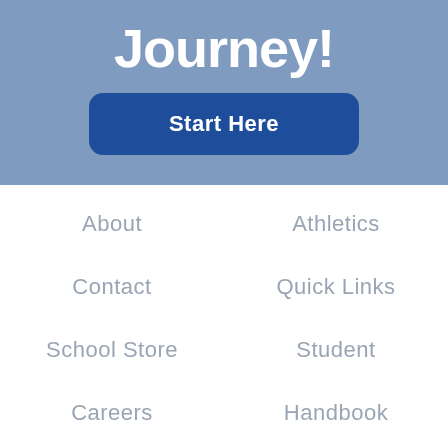Journey!
Start Here
About
Athletics
Contact
Quick Links
School Store
Student
Careers
Handbook